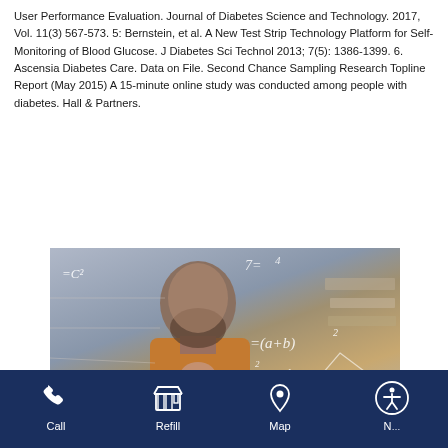User Performance Evaluation. Journal of Diabetes Science and Technology. 2017, Vol. 11(3) 567-573. 5: Bernstein, et al. A New Test Strip Technology Platform for Self-Monitoring of Blood Glucose. J Diabetes Sci Technol 2013; 7(5): 1386-1399. 6. Ascensia Diabetes Care. Data on File. Second Chance Sampling Research Topline Report (May 2015) A 15-minute online study was conducted among people with diabetes. Hall & Partners.
[Figure (photo): A bald bearded man in a tan shirt looking upward thoughtfully with mathematical equations overlaid on the image (including formulas like (a+b)^2, a^2=2ab), set in what appears to be a pharmacy background.]
Call   Refill   Map   N...